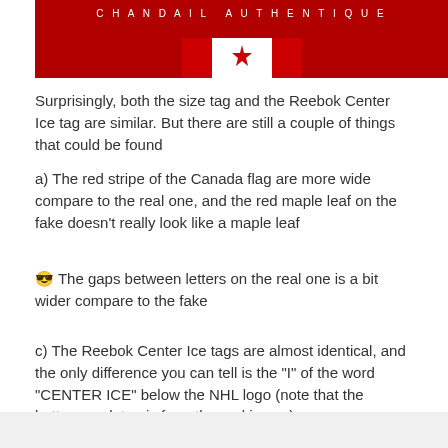[Figure (photo): Close-up photo of a hockey jersey neck tag area showing 'CHANDAIL AUTHENTIQUE' text on a dark tag, with a red and white Canada flag pattern on the jersey fabric below]
Surprisingly, both the size tag and the Reebok Center Ice tag are similar. But there are still a couple of things that could be found
a) The red stripe of the Canada flag are more wide compare to the real one, and the red maple leaf on the fake doesn't really look like a maple leaf
😎 The gaps between letters on the real one is a bit wider compare to the fake
c) The Reebok Center Ice tags are almost identical, and the only difference you can tell is the "I" of the word "CENTER ICE" below the NHL logo (note that the bottom neck tag is from the real jersey)